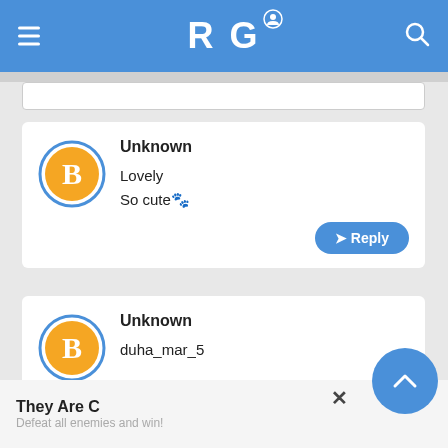RG (ResearchGate-style navigation bar)
Unknown
Lovely
So cute🐾
Unknown
duha_mar_5
They Are C...
Defeat all enemies and win!